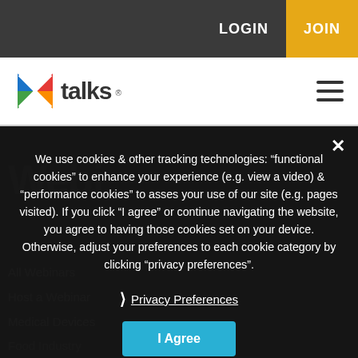LOGIN  JOIN
[Figure (logo): Xtalks logo with colorful X icon and 'talks' text]
We use cookies & other tracking technologies: “functional cookies” to enhance your experience (e.g. view a video) & “performance cookies” to asses your use of our site (e.g. pages visited). If you click “I agree” or continue navigating the website, you agree to having those cookies set on your device. Otherwise, adjust your preferences to each cookie category by clicking “privacy preferences”.
❯ Privacy Preferences
I Agree